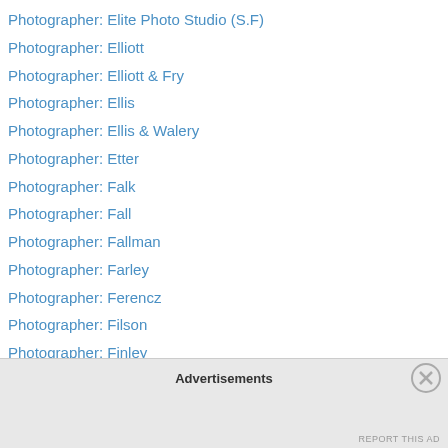Photographer: Elite Photo Studio (S.F)
Photographer: Elliott
Photographer: Elliott & Fry
Photographer: Ellis
Photographer: Ellis & Walery
Photographer: Etter
Photographer: Falk
Photographer: Fall
Photographer: Fallman
Photographer: Farley
Photographer: Ferencz
Photographer: Filson
Photographer: Finley
Photographer: Fisher & Monfort
Photographer: Flandrin
Photographer: Flaten
Advertisements